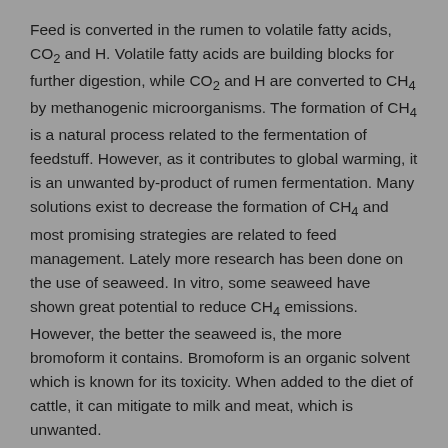Feed is converted in the rumen to volatile fatty acids, CO2 and H. Volatile fatty acids are building blocks for further digestion, while CO2 and H are converted to CH4 by methanogenic microorganisms. The formation of CH4 is a natural process related to the fermentation of feedstuff. However, as it contributes to global warming, it is an unwanted by-product of rumen fermentation. Many solutions exist to decrease the formation of CH4 and most promising strategies are related to feed management. Lately more research has been done on the use of seaweed. In vitro, some seaweed have shown great potential to reduce CH4 emissions. However, the better the seaweed is, the more bromoform it contains. Bromoform is an organic solvent which is known for its toxicity. When added to the diet of cattle, it can mitigate to milk and meat, which is unwanted.
Seaweed in general
Looking at feed sources coming from aquatic biomass could be interesting as 70% of the globe is covered with water. In addition, using this food source may reduce the land use